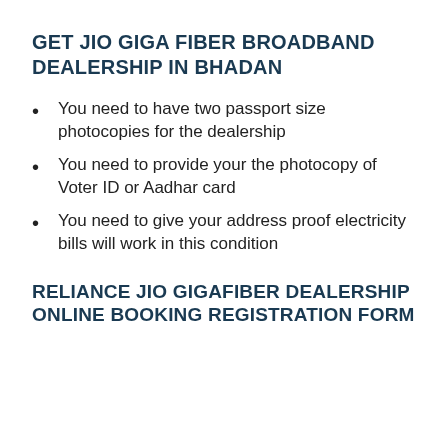GET JIO GIGA FIBER BROADBAND DEALERSHIP IN BHADAN
You need to have two passport size photocopies for the dealership
You need to provide your the photocopy of Voter ID or Aadhar card
You need to give your address proof electricity bills will work in this condition
RELIANCE JIO GIGAFIBER DEALERSHIP ONLINE BOOKING REGISTRATION FORM